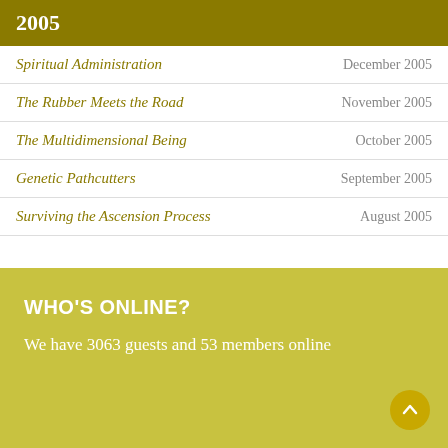2005
Spiritual Administration	December 2005
The Rubber Meets the Road	November 2005
The Multidimensional Being	October 2005
Genetic Pathcutters	September 2005
Surviving the Ascension Process	August 2005
WHO'S ONLINE?
We have 3063 guests and 53 members online